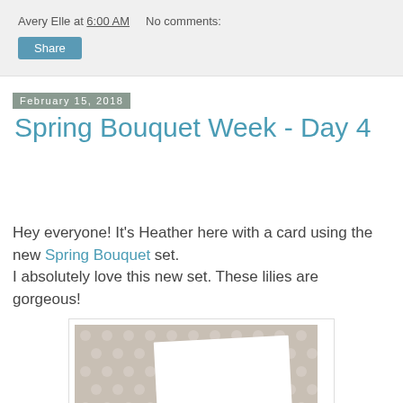Avery Elle at 6:00 AM    No comments:
Share
February 15, 2018
Spring Bouquet Week - Day 4
Hey everyone!  It's Heather here with a card using the new Spring Bouquet set.
I absolutely love this new set.  These lilies are gorgeous!
[Figure (photo): Photo of a white card on a gray polka-dot background]